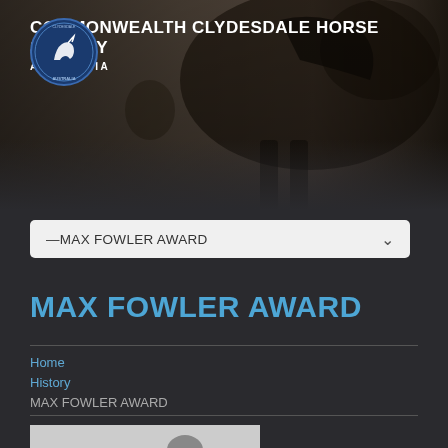[Figure (photo): Dark sepia-toned background photo of a horse (Clydesdale) with a person, forming the website header banner]
COMMONWEALTH CLYDESDALE HORSE SOCIETY AUSTRALIA
—MAX FOWLER AWARD
MAX FOWLER AWARD
Home
History
MAX FOWLER AWARD
[Figure (photo): Black and white photograph showing horses and people at what appears to be an agricultural show or stable setting]